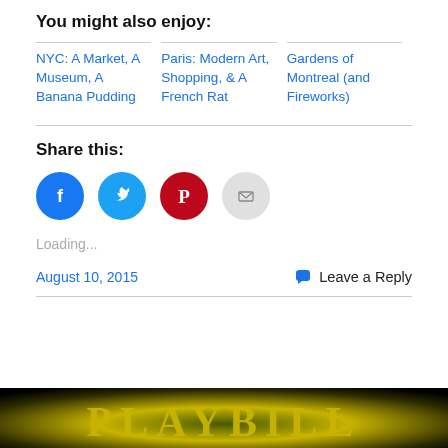You might also enjoy:
NYC: A Market, A Museum, A Banana Pudding
Paris: Modern Art, Shopping, & A French Rat
Gardens of Montreal (and Fireworks)
Share this:
[Figure (infographic): Social share buttons: Facebook (blue circle), Twitter (light blue circle), Pinterest (red circle), Email (grey circle)]
Loading...
August 10, 2015
Leave a Reply
[Figure (photo): Bottom portion of a Playbill cover with yellow/gold text on dark background showing 'PLAYBILL']